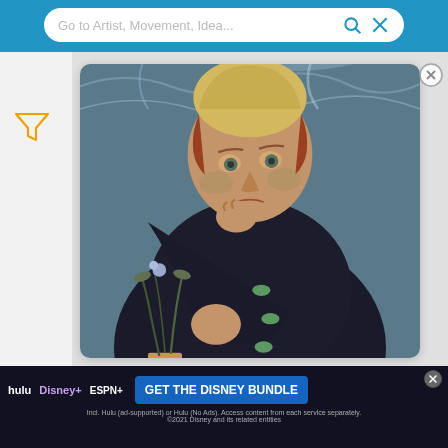[Figure (screenshot): App top navigation bar with search box placeholder text 'Go to Artist, Movement, Idea...' and search/close icons on a blue background]
[Figure (photo): Van Gogh painting 'Portrait of Dr. Gachet' showing a melancholic man in dark clothing resting his head on his hand, with swirling blue background]
[Figure (screenshot): Disney Bundle advertisement banner at the bottom showing Hulu, Disney+, and ESPN+ logos with 'GET THE DISNEY BUNDLE' call to action button]